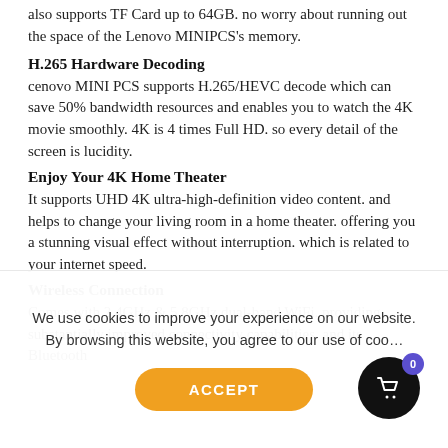also supports TF Card up to 64GB. no worry about running out the space of the Lenovo MINIPCS's memory.
H.265 Hardware Decoding
cenovo MINI PCS supports H.265/HEVC decode which can save 50% bandwidth resources and enables you to watch the 4K movie smoothly. 4K is 4 times Full HD. so every detail of the screen is lucidity.
Enjoy Your 4K Home Theater
It supports UHD 4K ultra-high-definition video content. and helps to change your living room in a home theater. offering you a stunning visual effect without interruption. which is related to your internet speed.
Wireless Connection
Comes with 2.4GHz & 5.8GHz dual-band WiFi. providing substantially improved connectivity capabilities. and its Bluetooth
We use cookies to improve your experience on our website. By browsing this website, you agree to our use of coo…
ACCEPT